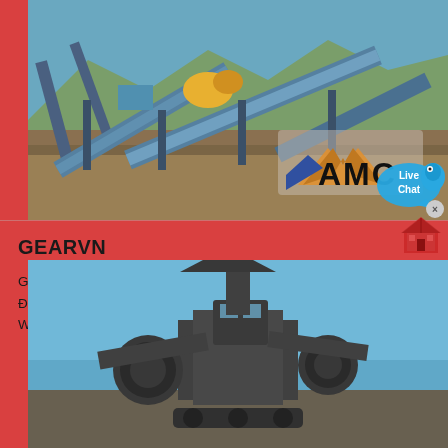[Figure (photo): Industrial mining/crushing equipment facility with large conveyor belts and machinery, mountains in background. AMC logo visible in lower right corner. Live Chat bubble overlay in bottom right.]
GEARVN
GEARVN – Cung cấp PC Hi End và Gaming Gear Chuyên Nghiệp- Địa Chỉ : 78-80 Hoàng Hoa Thám, Phường 12, Quận Tân Bình- Website : Hotline : 0868 005 001
[Figure (photo): Industrial crane or large mining machinery equipment photographed against a blue sky background.]